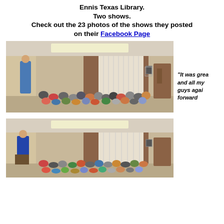Ennis Texas Library.
Two shows.
Check out the 23 photos of the shows they posted on their Facebook Page
[Figure (photo): Indoor library room with audience of children and adults seated on floor watching a performer in a blue outfit at the front of the room.]
"It was grea and all my guys agai forward
[Figure (photo): Indoor library room with audience of children and adults seated watching a man in a blue jacket performing at the front.]